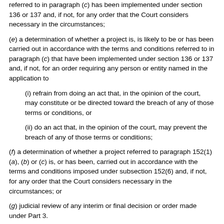referred to in paragraph (c) has been implemented under section 136 or 137 and, if not, for any order that the Court considers necessary in the circumstances;
(e) a determination of whether a project is, is likely to be or has been carried out in accordance with the terms and conditions referred to in paragraph (c) that have been implemented under section 136 or 137 and, if not, for an order requiring any person or entity named in the application to
(i) refrain from doing an act that, in the opinion of the court, may constitute or be directed toward the breach of any of those terms or conditions, or
(ii) do an act that, in the opinion of the court, may prevent the breach of any of those terms or conditions;
(f) a determination of whether a project referred to paragraph 152(1)(a), (b) or (c) is, or has been, carried out in accordance with the terms and conditions imposed under subsection 152(6) and, if not, for any order that the Court considers necessary in the circumstances; or
(g) judicial review of any interim or final decision or order made under Part 3.